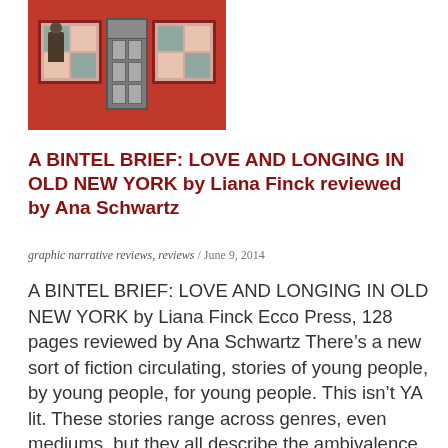[Figure (illustration): Illustrated book cover or artwork showing a red building facade with windows and a door, with a figure standing by the door]
A BINTEL BRIEF: LOVE AND LONGING IN OLD NEW YORK by Liana Finck reviewed by Ana Schwartz
graphic narrative reviews, reviews / June 9, 2014
A BINTEL BRIEF: LOVE AND LONGING IN OLD NEW YORK by Liana Finck Ecco Press, 128 pages reviewed by Ana Schwartz There’s a new sort of fiction circulating, stories of young people, by young people, for young people. This isn’t YA lit. These stories range across genres, even mediums, but they all describe the ambivalence of maturing in post-post-modernity. These narratives share a sense of lostness and reflective self-estrangement. The authors are smart and the narratives are